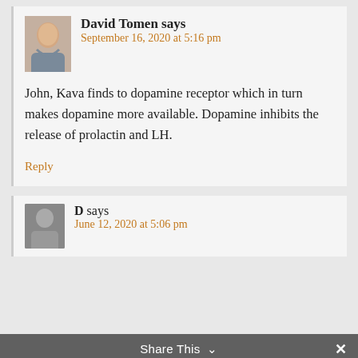[Figure (photo): Avatar photo of David Tomen, a middle-aged man smiling]
David Tomen says
September 16, 2020 at 5:16 pm
John, Kava finds to dopamine receptor which in turn makes dopamine more available. Dopamine inhibits the release of prolactin and LH.
Reply
[Figure (photo): Generic gray silhouette avatar for user D]
D says
June 12, 2020 at 5:06 pm
Share This